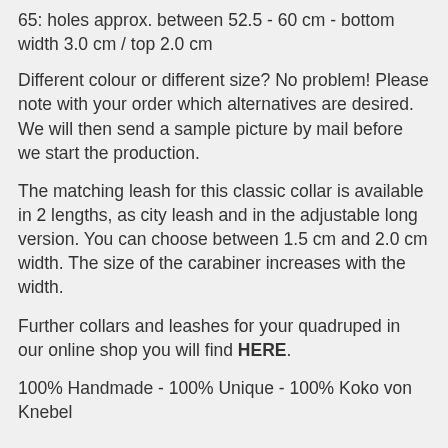65: holes approx. between 52.5 - 60 cm - bottom width 3.0 cm / top 2.0 cm
Different colour or different size? No problem! Please note with your order which alternatives are desired. We will then send a sample picture by mail before we start the production.
The matching leash for this classic collar is available in 2 lengths, as city leash and in the adjustable long version. You can choose between 1.5 cm and 2.0 cm width. The size of the carabiner increases with the width.
Further collars and leashes for your quadruped in our online shop you will find HERE.
100% Handmade - 100% Unique - 100% Koko von Knebel